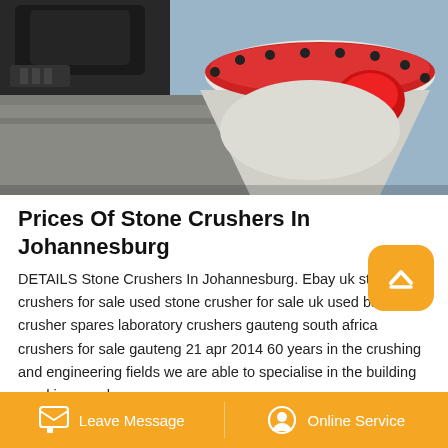[Figure (photo): Close-up photo of an industrial stone crusher machine with a red and white cone-shaped head and black motor, mounted on a concrete block structure in a factory setting.]
Prices Of Stone Crushers In Johannesburg
DETAILS Stone Crushers In Johannesburg. Ebay uk stone crushers for sale used stone crusher for sale uk used ball mills crusher spares laboratory crushers gauteng south africa crushers for sale gauteng 21 apr 2014 60 years in the crushing and engineering fields we are able to specialise in the building used jaw crushers.
[Figure (photo): Partial view of an outdoor industrial crusher or mining equipment structure with metal framework, partially visible at the bottom of the page.]